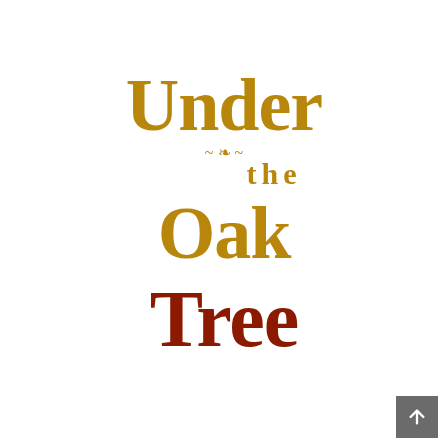[Figure (logo): Decorative title logo reading 'Under the Oak Tree' in two colors: 'Under', 'the', 'Oak' in gold/dark yellow ornate serif font, and 'Tree' in dark red ornate serif font, with scroll decorations]